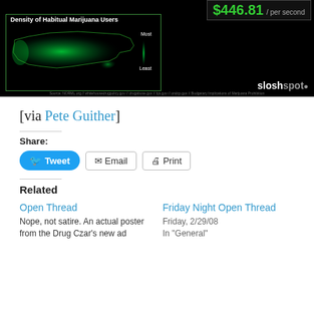[Figure (infographic): Infographic on black background showing 'Density of Habitual Marijuana Users' map of USA with green heat map, '$446.81 / per second' price counter in green, legend with Most/Least scale, and SloshSpot logo. Source attribution text at bottom.]
[via Pete Guither]
Share:
Related
Open Thread
Nope, not satire. An actual poster from the Drug Czar's new ad
Friday Night Open Thread
Friday, 2/29/08
In "General"